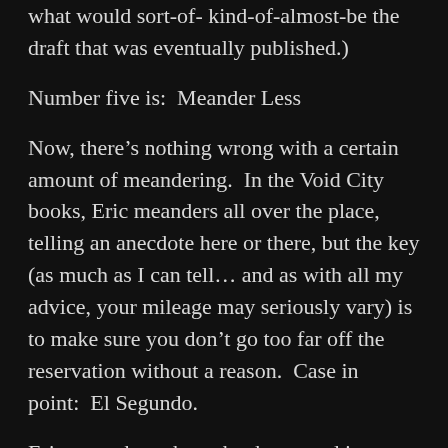what would sort-of- kind-of-almost-be the draft that was eventually published.)
Number five is:  Meander Less
Now, there’s nothing wrong with a certain amount of meandering.  In the Void City books, Eric meanders all over the place, telling an anecdote here or there, but the key (as much as I can tell… and as with all my advice, your mileage may seriously vary) is to make sure you don’t go too far off the reservation without a reason.  Case in point:  El Segundo.
Eric went there, but what happened is a story I’ve yet to tell.  The events, however, are a part of Eric’s back story with some point to fill in the